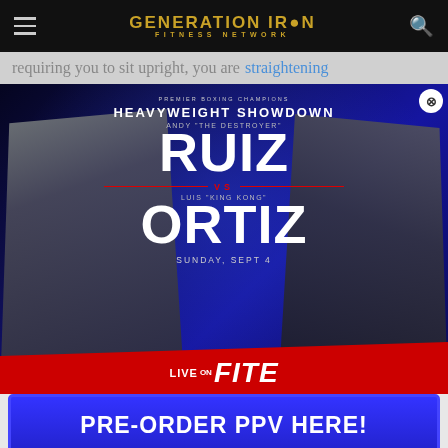GENERATION IRON FITNESS NETWORK
requiring you to sit upright, you are straightening
[Figure (photo): Boxing advertisement popup for Premier Boxing Champions Heavyweight Showdown: Andy 'The Destroyer' Ruiz vs Luis 'King Kong' Ortiz, Sunday Sept 4, Live on FITE. Features two fighters in boxing stances on a blue background with red LIVE ON FITE banner at bottom and PRE-ORDER PPV HERE! blue button.]
alternative to the treadmill, the rowing machine can be a fun way to add to your overall health.